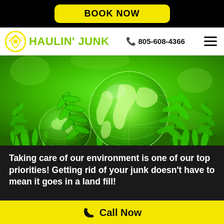BOOK NOW
HAULIN' JUNK  805-608-4366
[Figure (photo): Green glowing globe/earth resting in grass with green fern leaves, eco-friendly nature scene with vibrant green background]
Taking care of our environment is one of our top priorities! Getting rid of your junk doesn't have to mean it goes in a land fill!
Call Now